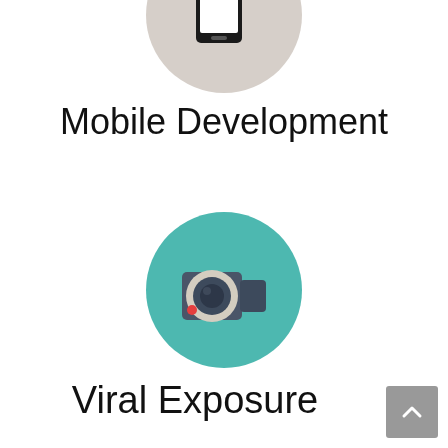[Figure (illustration): Mobile development icon: a smartphone with a red gear/settings cog overlay, inside a light grey/beige circle, partially cropped at top]
Mobile Development
[Figure (illustration): Viral exposure icon: a handheld video camera in dark slate blue with a beige/cream lens ring and a small red recording dot, inside a teal circle]
Viral Exposure